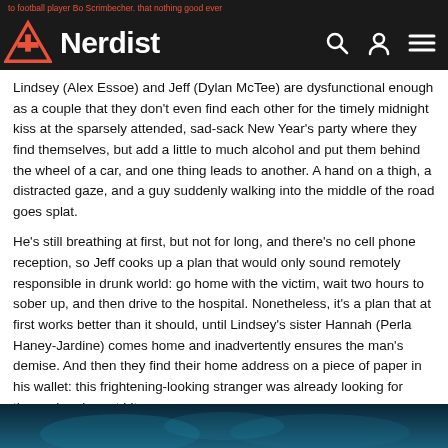to football player Bo Scrimbecher. that nothing good ever
Nerdist
Lindsey (Alex Essoe) and Jeff (Dylan McTee) are dysfunctional enough as a couple that they don't even find each other for the timely midnight kiss at the sparsely attended, sad-sack New Year's party where they find themselves, but add a little to much alcohol and put them behind the wheel of a car, and one thing leads to another. A hand on a thigh, a distracted gaze, and a guy suddenly walking into the middle of the road goes splat.
He's still breathing at first, but not for long, and there's no cell phone reception, so Jeff cooks up a plan that would only sound remotely responsible in drunk world: go home with the victim, wait two hours to sober up, and then drive to the hospital. Nonetheless, it's a plan that at first works better than it should, until Lindsey's sister Hannah (Perla Haney-Jardine) comes home and inadvertently ensures the man's demise. And then they find their home address on a piece of paper in his wallet: this frightening-looking stranger was already looking for them when he got hit.
[Figure (photo): Dark teal/blue toned image at bottom of page, partially visible]